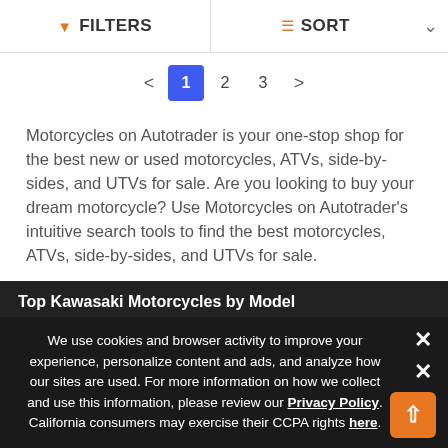FILTERS   SORT
1  2  3
Motorcycles on Autotrader is your one-stop shop for the best new or used motorcycles, ATVs, side-by-sides, and UTVs for sale. Are you looking to buy your dream motorcycle? Use Motorcycles on Autotrader's intuitive search tools to find the best motorcycles, ATVs, side-by-sides, and UTVs for sale.
Top Kawasaki Motorcycles by Model
We use cookies and browser activity to improve your experience, personalize content and ads, and analyze how our sites are used. For more information on how we collect and use this information, please review our Privacy Policy. California consumers may exercise their CCPA rights here.